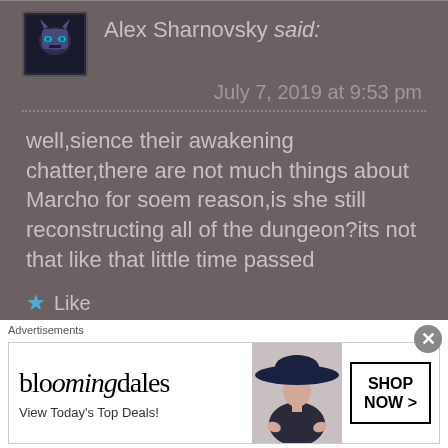Alex Sharnovsky said:
July 7, 2019 at 9:53 pm
well,sience their awakening chatter,there are not much things about Marcho for soem reason,is she still reconstructing all of the dungeon?its not that like that little time passed
Like
REPLY
seva said:
November 29, 2018 at 10:12 pm
[Figure (infographic): Bloomingdale's advertisement: 'View Today's Top Deals!' with woman in large hat, SHOP NOW > button]